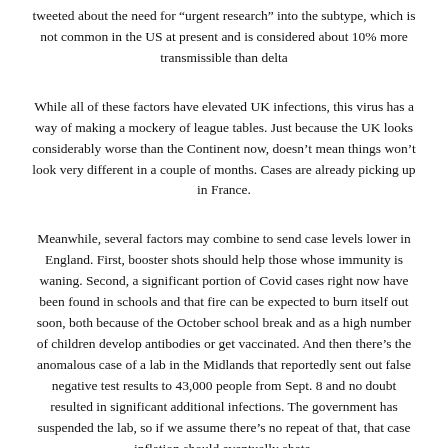tweeted about the need for “urgent research” into the subtype, which is not common in the US at present and is considered about 10% more transmissible than delta
While all of these factors have elevated UK infections, this virus has a way of making a mockery of league tables. Just because the UK looks considerably worse than the Continent now, doesn’t mean things won’t look very different in a couple of months. Cases are already picking up in France.
Meanwhile, several factors may combine to send case levels lower in England. First, booster shots should help those whose immunity is waning. Second, a significant portion of Covid cases right now have been found in schools and that fire can be expected to burn itself out soon, both because of the October school break and as a high number of children develop antibodies or get vaccinated. And then there’s the anomalous case of a lab in the Midlands that reportedly sent out false negative test results to 43,000 people from Sept. 8 and no doubt resulted in significant additional infections. The government has suspended the lab, so if we assume there’s no repeat of that, that case inflation should eventually abate.